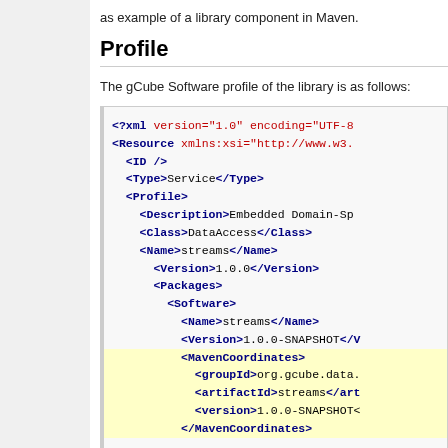as example of a library component in Maven.
Profile
The gCube Software profile of the library is as follows:
<?xml version="1.0" encoding="UTF-8"
<Resource xmlns:xsi="http://www.w3...
  <ID />
  <Type>Service</Type>
  <Profile>
    <Description>Embedded Domain-Sp...
    <Class>DataAccess</Class>
    <Name>streams</Name>
    <Version>1.0.0</Version>
    <Packages>
      <Software>
        <Name>streams</Name>
        <Version>1.0.0-SNAPSHOT</V...
        <MavenCoordinates>
          <groupId>org.gcube.data....
          <artifactId>streams</art...
          <version>1.0.0-SNAPSHOT<...
        </MavenCoordinates>
        <Files>
          <File>streams-1.0.0-SNAP...
        </Files>
      </Software>
    </Packages>